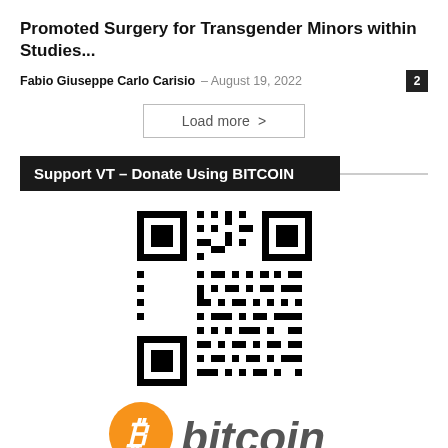Promoted Surgery for Transgender Minors within Studies...
Fabio Giuseppe Carlo Carisio – August 19, 2022
Load more >
Support VT – Donate Using BITCOIN
[Figure (other): QR code for Bitcoin donation]
[Figure (logo): Bitcoin logo with orange circle B icon and 'bitcoin' text in dark gray italic]